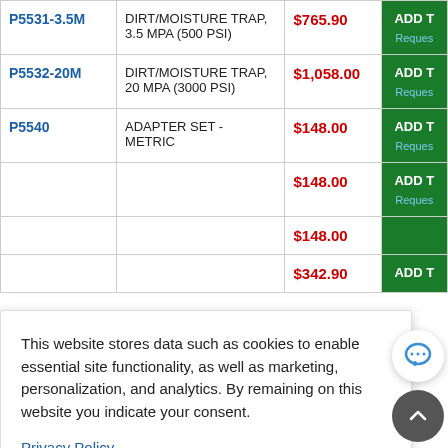| Part Number | Description | Price | Action |
| --- | --- | --- | --- |
| P5531-3.5M | DIRT/MOISTURE TRAP, 3.5 MPA (500 PSI) | $765.90 | ADD T / Reques |
| P5532-20M | DIRT/MOISTURE TRAP, 20 MPA (3000 PSI) | $1,058.00 | ADD T / Reques |
| P5540 | ADAPTER SET - METRIC | $148.00 | ADD T / Reques |
|  |  | $148.00 | ADD T / Reques |
|  |  | $148.00 |  |
|  |  | $342.90 | ADD T |
This website stores data such as cookies to enable essential site functionality, as well as marketing, personalization, and analytics. By remaining on this website you indicate your consent.
Privacy Policy